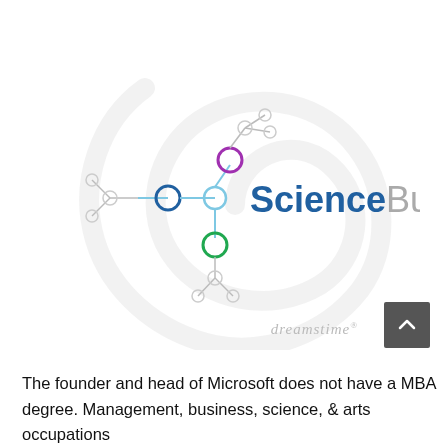[Figure (logo): Science Business logo: molecular network diagram with colored nodes (blue, purple, green) connected by light-blue lines, with a large light gray spiral watermark in background. Text reads 'Science Business' in blue and gray.]
dreamstime
The founder and head of Microsoft does not have a MBA degree. Management, business, science, & arts occupations